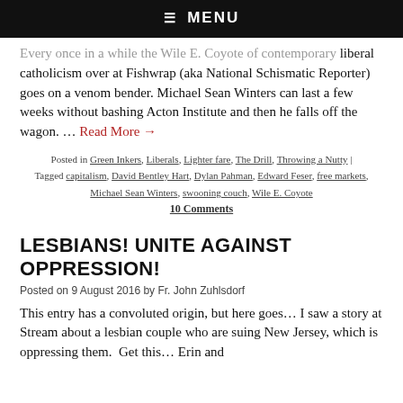☰  MENU
Every once in a while the Wile E. Coyote of contemporary liberal catholicism over at Fishwrap (aka National Schismatic Reporter) goes on a venom bender. Michael Sean Winters can last a few weeks without bashing Acton Institute and then he falls off the wagon. … Read More →
Posted in Green Inkers, Liberals, Lighter fare, The Drill, Throwing a Nutty | Tagged capitalism, David Bentley Hart, Dylan Pahman, Edward Feser, free markets, Michael Sean Winters, swooning couch, Wile E. Coyote
10 Comments
LESBIANS! UNITE AGAINST OPPRESSION!
Posted on 9 August 2016 by Fr. John Zuhlsdorf
This entry has a convoluted origin, but here goes… I saw a story at Stream about a lesbian couple who are suing New Jersey, which is oppressing them.  Get this… Erin and